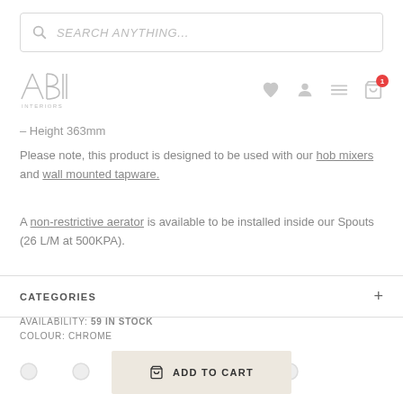SEARCH ANYTHING...
ABI INTERIORS
– Height 363mm
Please note, this product is designed to be used with our hob mixers and wall mounted tapware.
A non-restrictive aerator is available to be installed inside our Spouts (26 L/M at 500KPA).
CATEGORIES
AVAILABILITY: 59 IN STOCK
COLOUR: CHROME